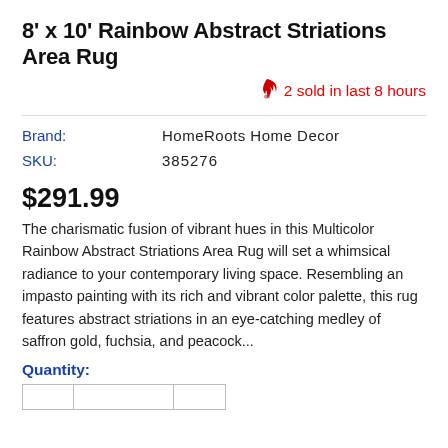8' x 10' Rainbow Abstract Striations Area Rug
2 sold in last 8 hours
| Label | Value |
| --- | --- |
| Brand: | HomeRoots Home Decor |
| SKU: | 385276 |
$291.99
The charismatic fusion of vibrant hues in this Multicolor Rainbow Abstract Striations Area Rug will set a whimsical radiance to your contemporary living space. Resembling an impasto painting with its rich and vibrant color palette, this rug features abstract striations in an eye-catching medley of saffron gold, fuchsia, and peacock...
Quantity: